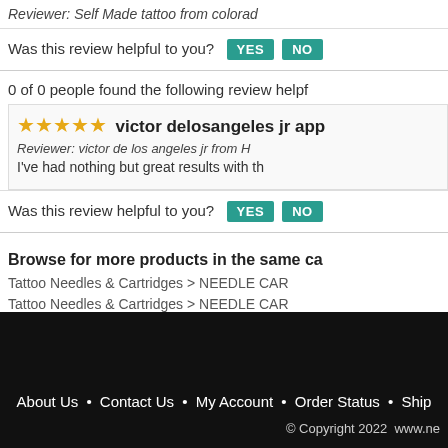Reviewer: Self Made tattoo from colorado
Was this review helpful to you?
0 of 0 people found the following review helpful
★★★★★ victor delosangeles jr app
Reviewer: victor de los angeles jr from H
I've had nothing but great results with th
Was this review helpful to you?
Browse for more products in the same cat
Tattoo Needles & Cartridges > NEEDLE CAR
Tattoo Needles & Cartridges > NEEDLE CAR MEDIUM TAPER
About Us • Contact Us • My Account • Order Status • Ship © Copyright 2022  www.ne